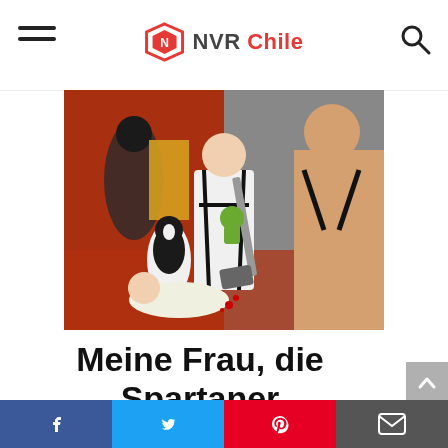NVR Chile
[Figure (photo): Movie promotional image showing costumed characters including a woman in white dress holding a sword, a shirtless muscular man, a penguin character, and other costumed figures, in a comedic action scene.]
Meine Frau, die Spartaner und ich
Überprüfen Sie den Preis bei Am
Facebook Twitter Pinterest Email